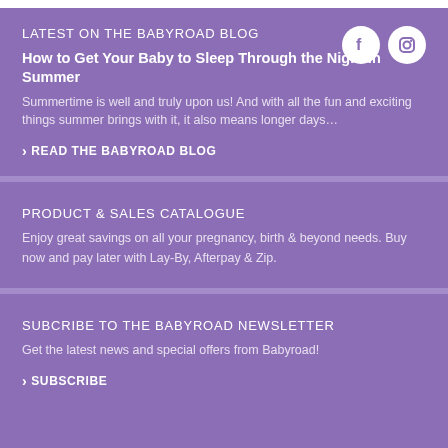LATEST ON THE BABYROAD BLOG
How to Get Your Baby to Sleep Through the Night In Summer
Summertime is well and truly upon us! And with all the fun and exciting things summer brings with it, it also means longer days…
> READ THE BABYROAD BLOG
PRODUCT & SALES CATALOGUE
Enjoy great savings on all your pregnancy, birth & beyond needs. Buy now and pay later with Lay-By, Afterpay & Zip.
SUBCRIBE TO THE BABYROAD NEWSLETTER
Get the latest news and special offers from Babyroad!
> SUBSCRIBE